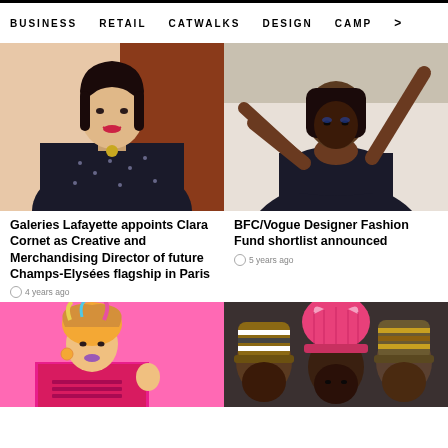BUSINESS   RETAIL   CATWALKS   DESIGN   CAMP   >
[Figure (photo): Woman with short dark hair and red lipstick wearing a patterned dark top with a gold necklace]
Galeries Lafayette appoints Clara Cornet as Creative and Merchandising Director of future Champs-Elysées flagship in Paris
4 years ago
[Figure (photo): Model wearing a navy/black sleeveless dress with arms raised, black headwrap]
BFC/Vogue Designer Fashion Fund shortlist announced
5 years ago
[Figure (photo): Person with colorful hair wearing a bright pink t-shirt against a pink background]
[Figure (photo): Group of people wearing knit hats including pink cat-ear hats]